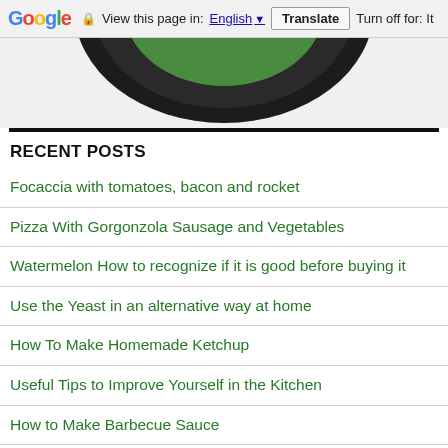Google  View this page in: English [▼]  Translate  Turn off for: It
[Figure (photo): Partial view of a plate/dish with dark rim and green center, cropped at top]
RECENT POSTS
Focaccia with tomatoes, bacon and rocket
Pizza With Gorgonzola Sausage and Vegetables
Watermelon How to recognize if it is good before buying it
Use the Yeast in an alternative way at home
How To Make Homemade Ketchup
Useful Tips to Improve Yourself in the Kitchen
How to Make Barbecue Sauce
Vegetarian Pizza With Pickles